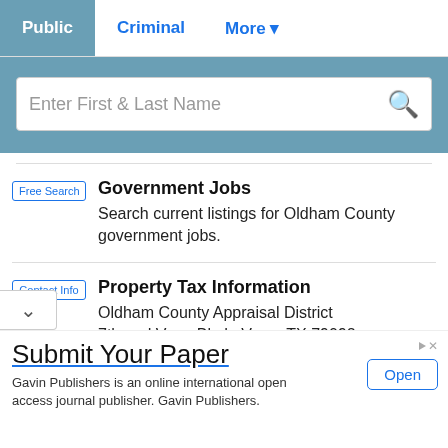Public | Criminal | More
[Figure (screenshot): Search bar with placeholder text 'Enter First & Last Name' and a search icon]
Free Search — Government Jobs: Search current listings for Oldham County government jobs.
Contact Info — Property Tax Information: Oldham County Appraisal District, 7th and Vega Blvd., Vega, TX 79092, Phone (806)267-2442 Fax (806)267-2471
Submit Your Paper — Gavin Publishers is an online international open access journal publisher. Gavin Publishers.